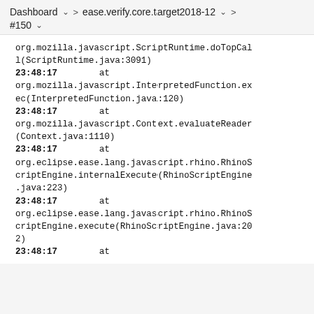Dashboard  ∨  >  ease.verify.core.target2018-12  ∨  >  #150  ∨
org.mozilla.javascript.ScriptRuntime.doTopCall(ScriptRuntime.java:3091)
23:48:17        at
org.mozilla.javascript.InterpretedFunction.exec(InterpretedFunction.java:120)
23:48:17        at
org.mozilla.javascript.Context.evaluateReader(Context.java:1110)
23:48:17        at
org.eclipse.ease.lang.javascript.rhino.RhinoScriptEngine.internalExecute(RhinoScriptEngine.java:223)
23:48:17        at
org.eclipse.ease.lang.javascript.rhino.RhinoScriptEngine.execute(RhinoScriptEngine.java:202)
23:48:17        at